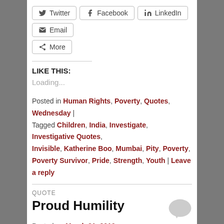[Figure (other): Social share buttons: Twitter, Facebook, LinkedIn, Email, More]
LIKE THIS:
Loading...
Posted in Human Rights, Poverty, Quotes, Wednesday | Tagged Children, India, Investigate, Investigative Quotes, Invisible, Katherine Boo, Mumbai, Pity, Poverty, Poverty Survivor, Pride, Strength, Youth | Leave a reply
QUOTE
Proud Humility
Posted on March 31, 2016
[Figure (photo): Book cover showing 'FIRE LOGIC' text in gold on dark background]